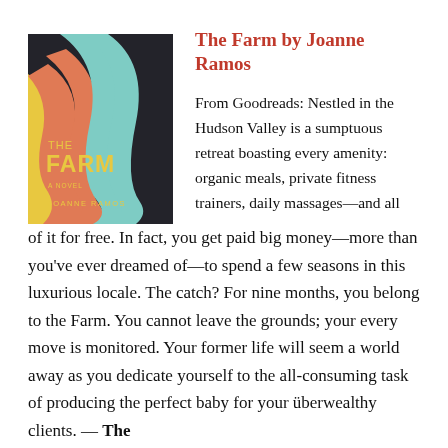[Figure (illustration): Book cover of 'The Farm' by Joanne Ramos, featuring abstract colorful shapes in yellow, orange/coral, and teal/mint on a dark background with the title and author name.]
The Farm by Joanne Ramos
From Goodreads: Nestled in the Hudson Valley is a sumptuous retreat boasting every amenity: organic meals, private fitness trainers, daily massages—and all of it for free. In fact, you get paid big money—more than you've ever dreamed of—to spend a few seasons in this luxurious locale. The catch? For nine months, you belong to the Farm. You cannot leave the grounds; your every move is monitored. Your former life will seem a world away as you dedicate yourself to the all-consuming task of producing the perfect baby for your überwealthy clients. — The